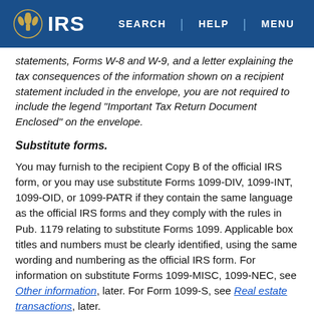IRS | SEARCH | HELP | MENU
statements, Forms W-8 and W-9, and a letter explaining the tax consequences of the information shown on a recipient statement included in the envelope, you are not required to include the legend “Important Tax Return Document Enclosed” on the envelope.
Substitute forms.
You may furnish to the recipient Copy B of the official IRS form, or you may use substitute Forms 1099-DIV, 1099-INT, 1099-OID, or 1099-PATR if they contain the same language as the official IRS forms and they comply with the rules in Pub. 1179 relating to substitute Forms 1099. Applicable box titles and numbers must be clearly identified, using the same wording and numbering as the official IRS form. For information on substitute Forms 1099-MISC, 1099-NEC, see Other information, later. For Form 1099-S, see Real estate transactions, later.
All substitute statements to recipients must